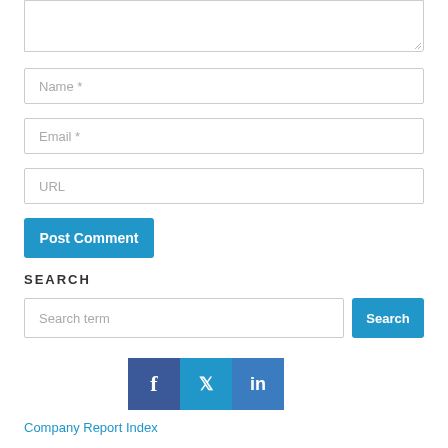[Figure (screenshot): Textarea input box (top portion visible, partially cut off at top)]
Name *
Email *
URL
Post Comment
SEARCH
Search term
Search
[Figure (screenshot): Social media icons: Facebook, Twitter, LinkedIn]
Company Report Index